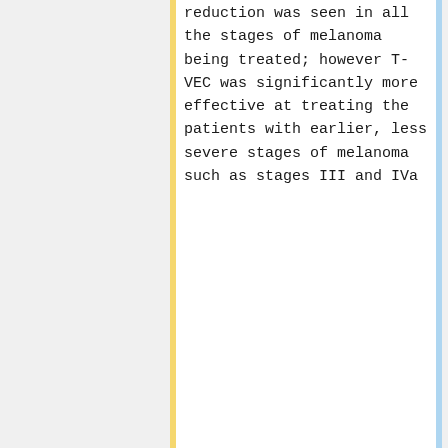reduction was seen in all the stages of melanoma being treated; however T-VEC was significantly more effective at treating the patients with earlier, less severe stages of melanoma such as stages III and IVa